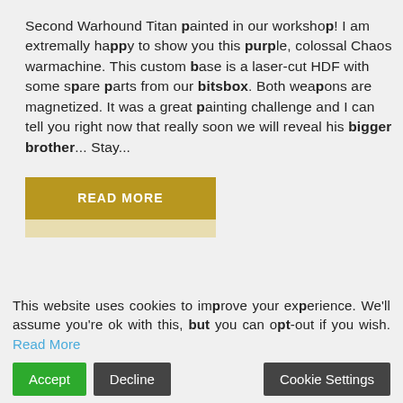Second Warhound Titan painted in our workshop! I am extremally happy to show you this purple, colossal Chaos warmachine. This custom base is a laser-cut HDF with some spare parts from our bitsbox. Both weapons are magnetized. It was a great painting challenge and I can tell you right now that really soon we will reveal his bigger brother... Stay...
READ MORE
This website uses cookies to improve your experience. We'll assume you're ok with this, but you can opt-out if you wish. Read More
Accept  Decline  Cookie Settings